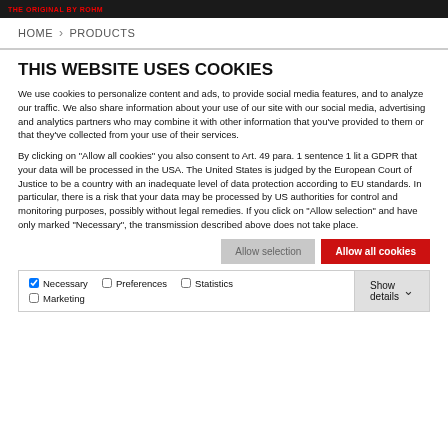THE ORIGINAL BY ROHM
HOME > PRODUCTS
THIS WEBSITE USES COOKIES
We use cookies to personalize content and ads, to provide social media features, and to analyze our traffic. We also share information about your use of our site with our social media, advertising and analytics partners who may combine it with other information that you've provided to them or that they've collected from your use of their services.
By clicking on "Allow all cookies" you also consent to Art. 49 para. 1 sentence 1 lit a GDPR that your data will be processed in the USA. The United States is judged by the European Court of Justice to be a country with an inadequate level of data protection according to EU standards. In particular, there is a risk that your data may be processed by US authorities for control and monitoring purposes, possibly without legal remedies. If you click on "Allow selection" and have only marked "Necessary", the transmission described above does not take place.
Allow selection | Allow all cookies
Necessary | Preferences | Statistics | Marketing | Show details